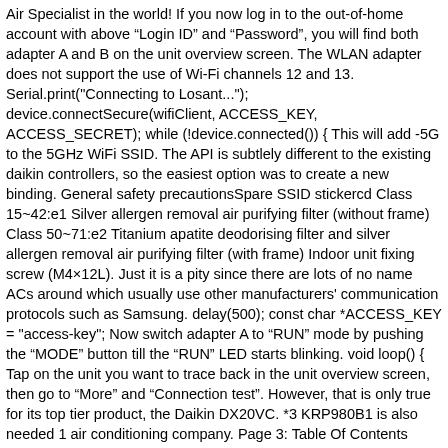Air Specialist in the world! If you now log in to the out-of-home account with above “Login ID” and “Password”, you will find both adapter A and B on the unit overview screen. The WLAN adapter does not support the use of Wi-Fi channels 12 and 13. Serial.print("Connecting to Losant..."); device.connectSecure(wifiClient, ACCESS_KEY, ACCESS_SECRET); while (!device.connected()) { This will add -5G to the 5GHz WiFi SSID. The API is subtlely different to the existing daikin controllers, so the easiest option was to create a new binding. General safety precautionsSpare SSID stickercd Class 15~42:e1 Silver allergen removal air purifying filter (without frame) Class 50~71:e2 Titanium apatite deodorising filter and silver allergen removal air purifying filter (with frame) Indoor unit fixing screw (M4×12L). Just it is a pity since there are lots of no name ACs around which usually use other manufacturers' communication protocols such as Samsung. delay(500); const char *ACCESS_KEY = "access-key"; Now switch adapter A to “RUN” mode by pushing the “MODE” button till the “RUN” LED starts blinking. void loop() { Tap on the unit you want to trace back in the unit overview screen, then go to “More” and “Connection test”. However, that is only true for its top tier product, the Daikin DX20VC. *3 KRP980B1 is also needed 1 air conditioning company. Page 3: Table Of Contents CONTENTS 1. About Daikin Australia. The release of ESPHome v1.15 brought better support for infrared climate control. Serial.println(WIFI_SSID); while (WiFi.status() != WL_CONNECTED) { Make